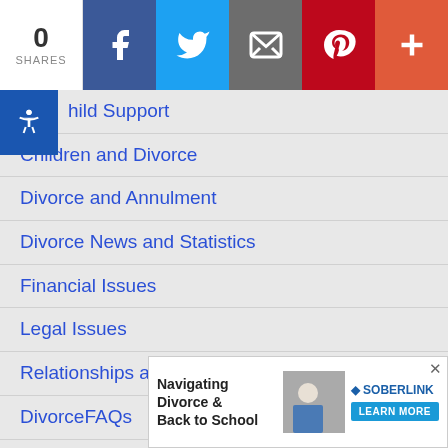[Figure (infographic): Social share bar with count=0 shares, Facebook, Twitter, Email, Pinterest, and More (+) buttons]
Child Support
Children and Divorce
Divorce and Annulment
Divorce News and Statistics
Financial Issues
Legal Issues
Relationships and Dating
DivorceFAQs
Divorce Podcasts
Divorce…
[Figure (infographic): Advertisement overlay: Navigating Divorce & Back to School — SoberLink LEARN MORE]